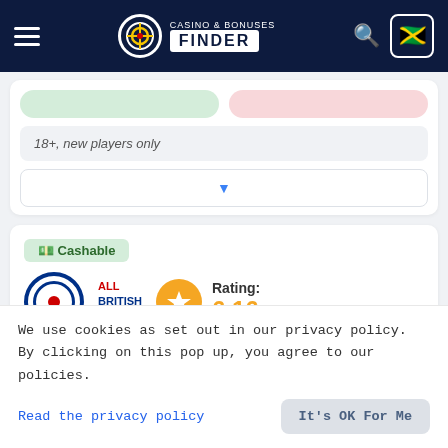Casino & Bonuses Finder
18+, new players only
Cashable
ALL BRITISH CASINO — Rating: 6.16/10
Available for players from Jamaica
We use cookies as set out in our privacy policy. By clicking on this pop up, you agree to our policies.
Read the privacy policy
It's OK For Me